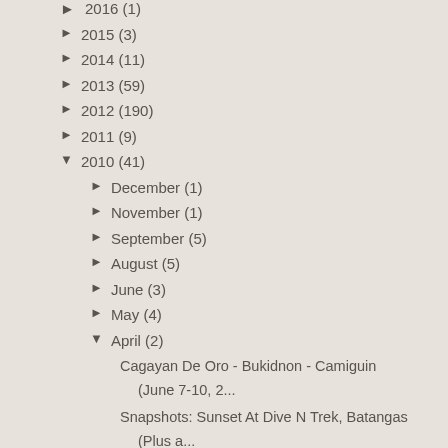► 2015 (3)
► 2014 (11)
► 2013 (59)
► 2012 (190)
► 2011 (9)
▼ 2010 (41)
► December (1)
► November (1)
► September (5)
► August (5)
► June (3)
► May (4)
▼ April (2)
Cagayan De Oro - Bukidnon - Camiguin (June 7-10, 2...
Snapshots: Sunset At Dive N Trek, Batangas (Plus a...
► March (13)
► February (4)